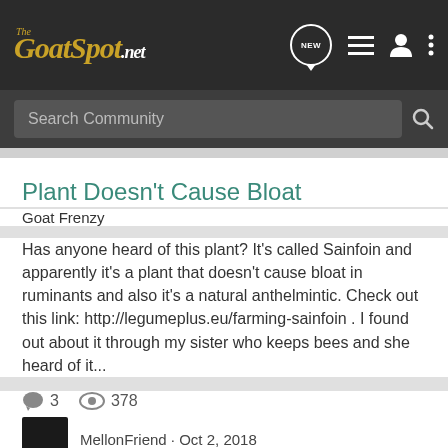[Figure (screenshot): The GoatSpot.net logo in gold italic script on dark navbar]
Search Community
Plant Doesn't Cause Bloat
Goat Frenzy
Has anyone heard of this plant? It's called Sainfoin and apparently it's a plant that doesn't cause bloat in ruminants and also it's a natural anthelmintic. Check out this link: http://legumeplus.eu/farming-sainfoin . I found out about it through my sister who keeps bees and she heard of it...
3    378
MellonFriend · Oct 2, 2018
cover crop  forage  sainfoin